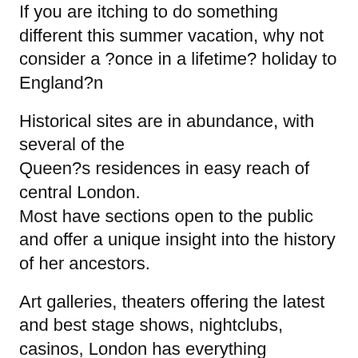If you are itching to do something different this summer vacation, why not consider a ?once in a lifetime? holiday to England?n
Historical sites are in abundance, with several of the Queen?s residences in easy reach of central London. Most have sections open to the public and offer a unique insight into the history of her ancestors.
Art galleries, theaters offering the latest and best stage shows, nightclubs, casinos, London has everything including the ?London Eye? – a huge wheel housing bullet shaped carriages for twenty or so people to view the London skyline both by day